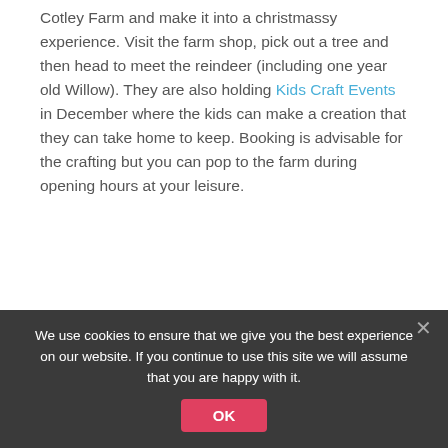Cotley Farm and make it into a christmassy experience. Visit the farm shop, pick out a tree and then head to meet the reindeer (including one year old Willow). They are also holding Kids Craft Events in December where the kids can make a creation that they can take home to keep. Booking is advisable for the crafting but you can pop to the farm during opening hours at your leisure.
We use cookies to ensure that we give you the best experience on our website. If you continue to use this site we will assume that you are happy with it.